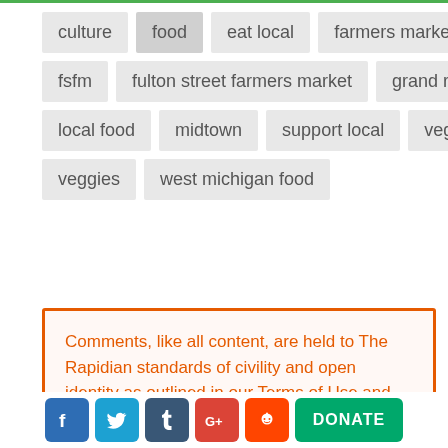culture
food
eat local
farmers market
fsfm
fulton street farmers market
grand rapids
local food
midtown
support local
vegetables
veggies
west michigan food
Comments, like all content, are held to The Rapidian standards of civility and open identity as outlined in our Terms of Use and Values Statement. We reserve the right to remove any
[Figure (infographic): Social media icons (Facebook, Twitter, Tumblr, Google+, Reddit) and a green DONATE button in the page footer]